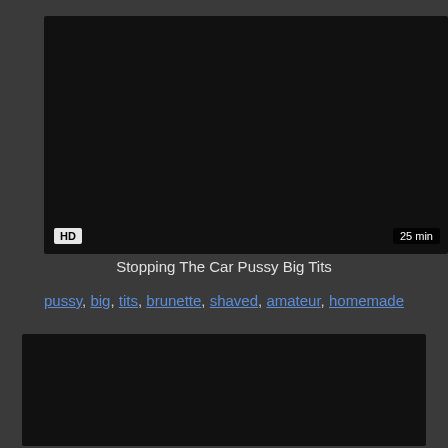[Figure (photo): Video thumbnail showing a dark/black image with HD badge and 25 min duration label]
Stopping The Car Pussy Big Tits
pussy, big, tits, brunette, shaved, amateur, homemade
[Figure (photo): Second video thumbnail, dark image]